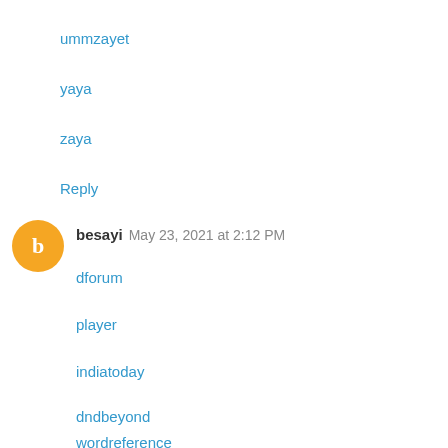ummzayet
yaya
zaya
Reply
besayi May 23, 2021 at 2:12 PM
dforum
player
indiatoday
dndbeyond
wordreference